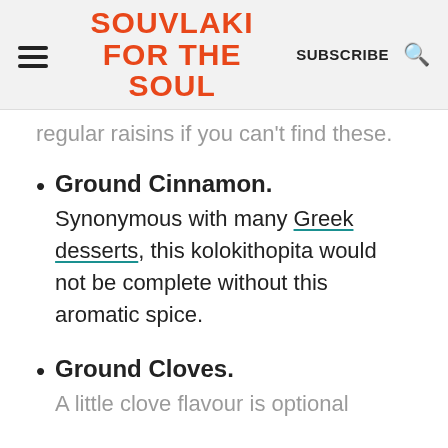SOUVLAKI FOR THE SOUL | SUBSCRIBE
regular raisins if you can't find these.
Ground Cinnamon. Synonymous with many Greek desserts, this kolokithopita would not be complete without this aromatic spice.
Ground Cloves. A little clove flavour is optional